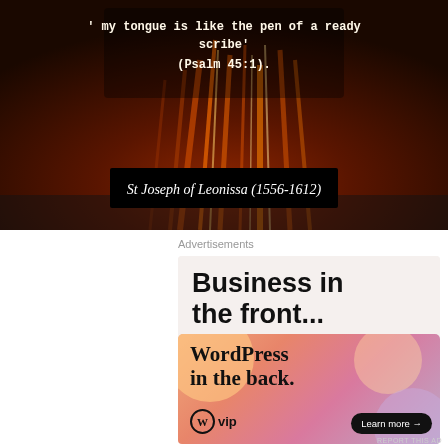[Figure (illustration): Dark fiery background image with text overlay showing a biblical quote and saint name. Quote reads: ' my tongue is like the pen of a ready scribe' (Psalm 45:1). Below is a black bar with text: St Joseph of Leonissa (1556-1612)]
Advertisements
[Figure (screenshot): WordPress VIP advertisement. Top section on light beige background reads 'Business in the front...' in large bold black text. Bottom section has gradient orange-pink-purple background with decorative blobs, text reads 'WordPress in the back.' with WordPress VIP logo and 'Learn more →' button.]